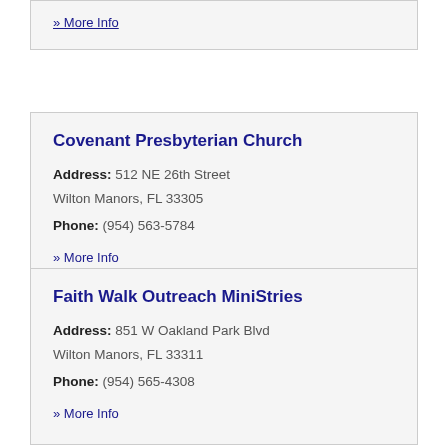» More Info
Covenant Presbyterian Church
Address: 512 NE 26th Street Wilton Manors, FL 33305
Phone: (954) 563-5784
» More Info
Faith Walk Outreach MiniStries
Address: 851 W Oakland Park Blvd Wilton Manors, FL 33311
Phone: (954) 565-4308
» More Info